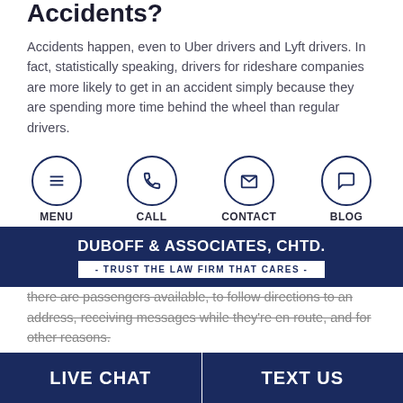Accidents?
Accidents happen, even to Uber drivers and Lyft drivers. In fact, statistically speaking, drivers for rideshare companies are more likely to get in an accident simply because they are spending more time behind the wheel than regular drivers.
[Figure (infographic): Four circular navigation icons labeled MENU, CALL, CONTACT, BLOG arranged horizontally]
[Figure (logo): Duboff & Associates, CHTD. banner with tagline 'TRUST THE LAW FIRM THAT CARES']
there are passengers available, to follow directions to an address, receiving messages while they're en route, and for other reasons.
When they reach a destination to pick someone up, they may also get distracted as they begin looking around, trying to find the passenger that sent the ride request. Even if they're moving slow, they can easily bump into other cars or injure a pedestrian or
LIVE CHAT   TEXT US